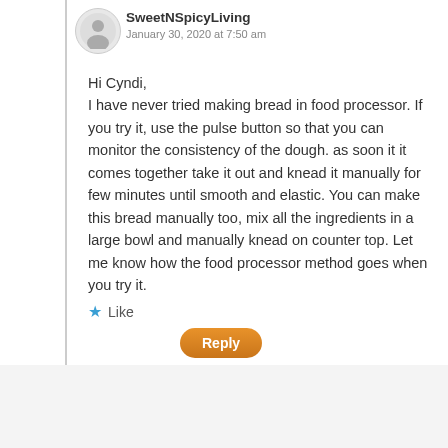SweetNSpicyLiving
January 30, 2020 at 7:50 am
Hi Cyndi,
I have never tried making bread in food processor. If you try it, use the pulse button so that you can monitor the consistency of the dough. as soon it it comes together take it out and knead it manually for few minutes until smooth and elastic. You can make this bread manually too, mix all the ingredients in a large bowl and manually knead on counter top. Let me know how the food processor method goes when you try it.
Like
Reply
Advertisements
[Figure (infographic): Seamless food ordering advertisement banner with pizza image on left, Seamless logo in red box in center, and ORDER NOW text in bordered box on right, on dark background]